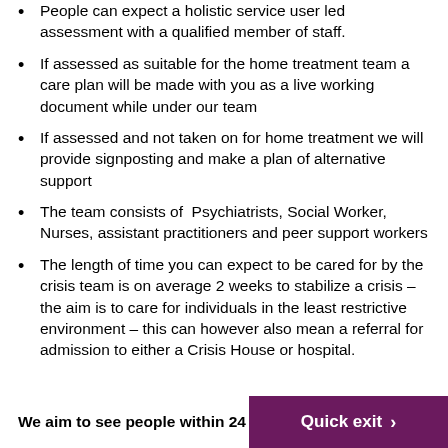People can expect a holistic service user led assessment with a qualified member of staff.
If assessed as suitable for the home treatment team a care plan will be made with you as a live working document while under our team
If assessed and not taken on for home treatment we will provide signposting and make a plan of alternative support
The team consists of  Psychiatrists, Social Worker, Nurses, assistant practitioners and peer support workers
The length of time you can expect to be cared for by the crisis team is on average 2 weeks to stabilize a crisis – the aim is to care for individuals in the least restrictive environment – this can however also mean a referral for admission to either a Crisis House or hospital.
We aim to see people within 24 h  Quick exit >